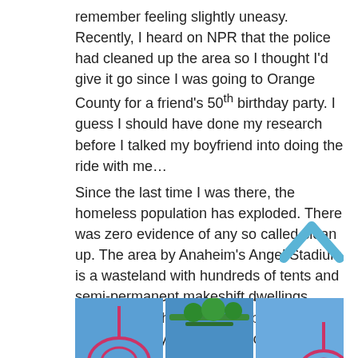remember feeling slightly uneasy. Recently, I heard on NPR that the police had cleaned up the area so I thought I'd give it go since I was going to Orange County for a friend's 50th birthday party. I guess I should have done my research before I talked my boyfriend into doing the ride with me…
Since the last time I was there, the homeless population has exploded. There was zero evidence of any so called clean up. The area by Anaheim's Angel Stadium is a wasteland with hundreds of tents and semi-permanent makeshift dwellings strewn on both sides of the bike lane and garbage everywhere. This goes on for a couple miles.
[Figure (photo): Three side-by-side photos showing amusement park or stadium structures against a blue sky]